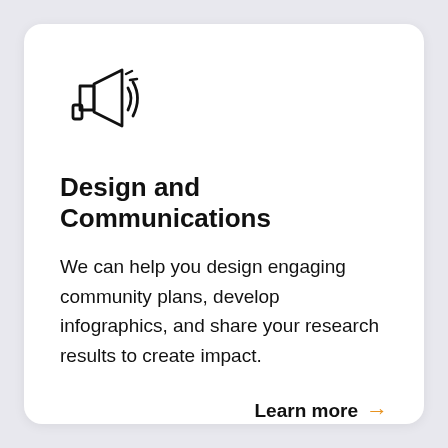[Figure (illustration): Megaphone/loudspeaker icon with sound lines, black outline style]
Design and Communications
We can help you design engaging community plans, develop infographics, and share your research results to create impact.
Learn more →